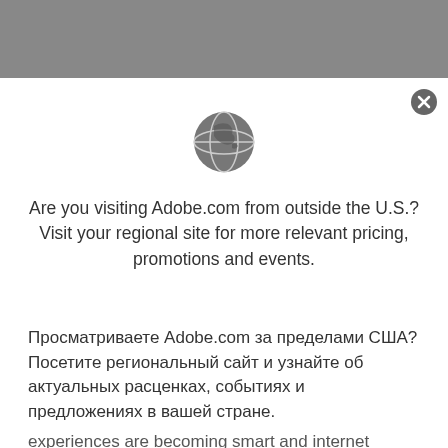[Figure (illustration): Gray banner background at top of page]
[Figure (illustration): Globe icon in gray, representing international/regional site selection]
Are you visiting Adobe.com from outside the U.S.? Visit your regional site for more relevant pricing, promotions and events.
Просматриваете Adobe.com за пределами США? Посетите региональный сайт и узнайте об актуальных расценках, событиях и предложениях в вашей стране.
experiences are becoming smart and internet enabled. If your product is connected to the internet, we can help you test and personalize its experience for your customers